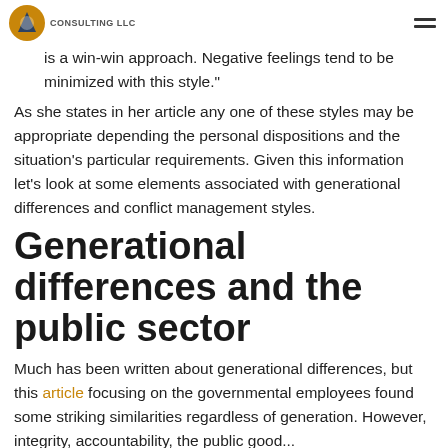CONSULTING LLC
is a win-win approach. Negative feelings tend to be minimized with this style."
As she states in her article any one of these styles may be appropriate depending the personal dispositions and the situation's particular requirements. Given this information let's look at some elements associated with generational differences and conflict management styles.
Generational differences and the public sector
Much has been written about generational differences, but this article focusing on the governmental employees found some striking similarities regardless of generation. However, integrity, accountability, the public good...